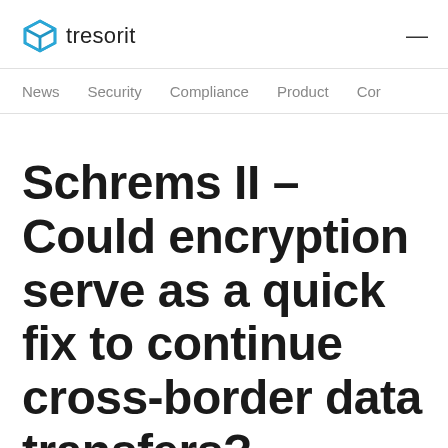tresorit
News   Security   Compliance   Product   Cor
Schrems II – Could encryption serve as a quick fix to continue cross-border data transfers?